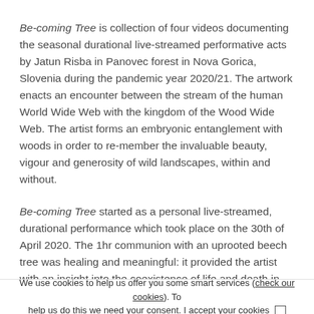Be-coming Tree is collection of four videos documenting the seasonal durational live-streamed performative acts by Jatun Risba in Panovec forest in Nova Gorica, Slovenia during the pandemic year 2020/21. The artwork enacts an encounter between the stream of the human World Wide Web with the kingdom of the Wood Wide Web. The artist forms an embryonic entanglement with woods in order to re-member the invaluable beauty, vigour and generosity of wild landscapes, within and without.
Be-coming Tree started as a personal live-streamed, durational performance which took place on the 30th of April 2020. The 1hr communion with an uprooted beech tree was healing and meaningful: it provided the artist with an insight into the coexistence of life and death in daily existence. The tree trunk on which Risba was laying in stillness, was a site teeming with life while undergoing the process of self-composting. Inspired by this vision of interdependence and vitality of cessation, the project gained a collective, inclusive and self-empowering direction. Be-coming Tree...
We use cookies to help us offer you some smart services (check our cookies). To help us do this we need your consent. I accept your cookies □